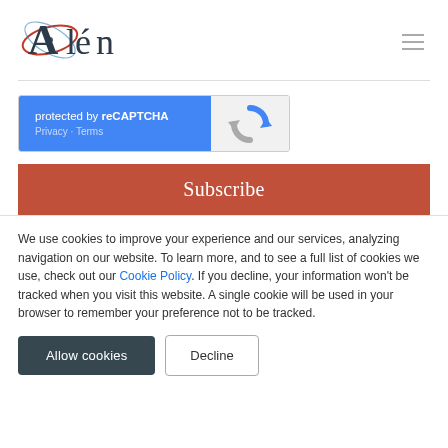Alén
[Figure (logo): Alén company logo with stylized orbit/atom graphic around the letter A]
[Figure (screenshot): reCAPTCHA widget: 'protected by reCAPTCHA' with Privacy and Terms links on blue background, reCAPTCHA logo on grey background]
Subscribe
We use cookies to improve your experience and our services, analyzing navigation on our website. To learn more, and to see a full list of cookies we use, check out our Cookie Policy. If you decline, your information won't be tracked when you visit this website. A single cookie will be used in your browser to remember your preference not to be tracked.
Allow cookies
Decline